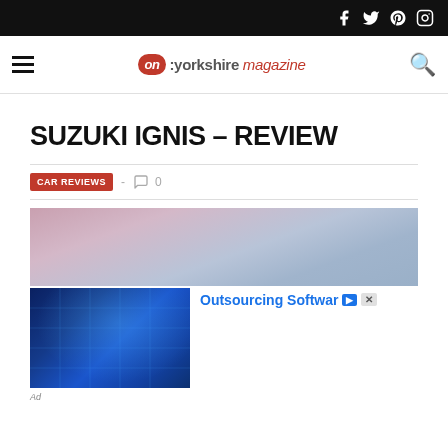on:yorkshire magazine — social icons: Facebook, Twitter, Pinterest, Instagram
SUZUKI IGNIS – REVIEW
CAR REVIEWS  -  0
[Figure (photo): Hero image with pink/mauve sky tones — top of Suzuki Ignis review article image]
[Figure (photo): Advertisement: Outsourcing Software — thumbnail with person at computer with digital data overlay]